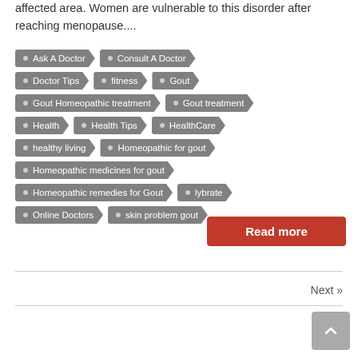affected area. Women are vulnerable to this disorder after reaching menopause....
Ask A Doctor
Consult A Doctor
Doctor Tips
fitness
Gout
Gout Homeopathic treatment
Gout treatment
Health
Health Tips
HealthCare
healthy living
Homeopathic for gout
Homeopathic medicines for gout
Homeopathic remedies for Gout
lybrate
Online Doctors
skin problem gout
Read more
Next »